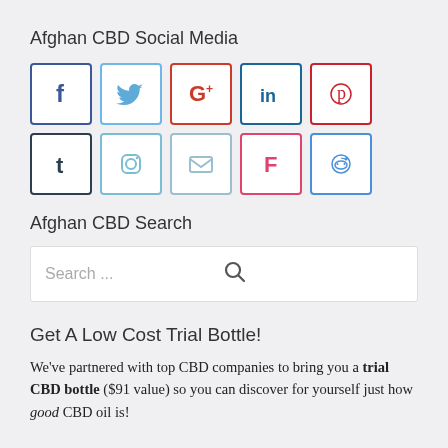Afghan CBD Social Media
[Figure (infographic): Row of social media icon buttons: Facebook (dark blue border), Twitter (light blue border), Google+ (red-orange border), LinkedIn (dark blue border), Pinterest (red border), Tumblr (dark border), Instagram (light blue border), Email (light blue border), Foursquare (pink/red border), and Reddit (blue border) in a second row.]
Afghan CBD Search
Search ...
Get A Low Cost Trial Bottle!
We've partnered with top CBD companies to bring you a trial CBD bottle ($91 value) so you can discover for yourself just how good CBD oil is!